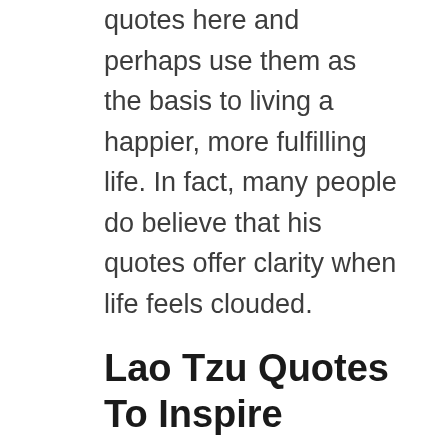quotes here and perhaps use them as the basis to living a happier, more fulfilling life. In fact, many people do believe that his quotes offer clarity when life feels clouded.
Lao Tzu Quotes To Inspire
Knowing others is wisdom, knowing yourself is enlightenment.
Mastering others is strength. Mastering yourself is true power.
Stop leaving and you will arrive. Stop searching and you will see. Stop running